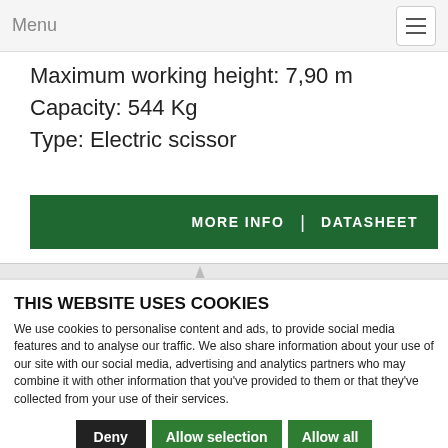Menu
Maximum working height: 7,90 m
Capacity: 544 Kg
Type: Electric scissor
MORE INFO | DATASHEET
THIS WEBSITE USES COOKIES
We use cookies to personalise content and ads, to provide social media features and to analyse our traffic. We also share information about your use of our site with our social media, advertising and analytics partners who may combine it with other information that you've provided to them or that they've collected from your use of their services.
Deny | Allow selection | Allow all
Necessary | Preferences | Statistics | Marketing | Show details